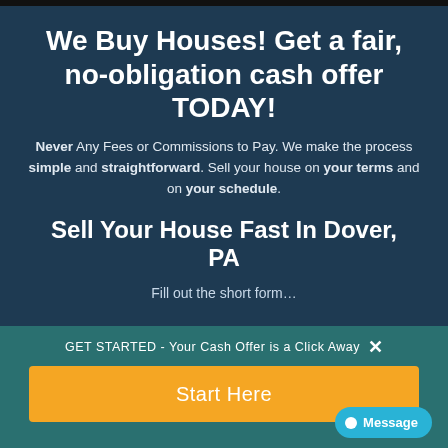We Buy Houses! Get a fair, no-obligation cash offer TODAY!
Never Any Fees or Commissions to Pay. We make the process simple and straightforward. Sell your house on your terms and on your schedule.
Sell Your House Fast In Dover, PA
Fill out the short form...
GET STARTED - Your Cash Offer is a Click Away
Start Here
Message